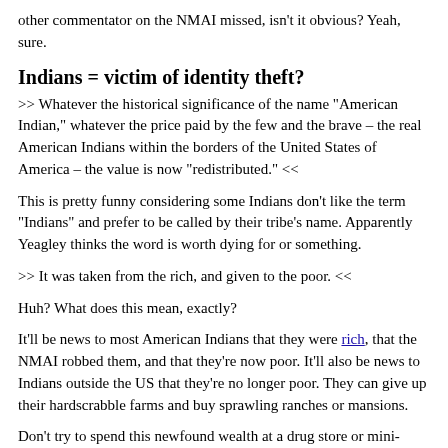other commentator on the NMAI missed, isn't it obvious? Yeah, sure.
Indians = victim of identity theft?
>> Whatever the historical significance of the name "American Indian," whatever the price paid by the few and the brave – the real American Indians within the borders of the United States of America – the value is now "redistributed." <<
This is pretty funny considering some Indians don't like the term "Indians" and prefer to be called by their tribe's name. Apparently Yeagley thinks the word is worth dying for or something.
>> It was taken from the rich, and given to the poor. <<
Huh? What does this mean, exactly?
It'll be news to most American Indians that they were rich, that the NMAI robbed them, and that they're now poor. It'll also be news to Indians outside the US that they're no longer poor. They can give up their hardscrabble farms and buy sprawling ranches or mansions.
Don't try to spend this newfound wealth at a drug store or mini-mart, people. Like most of Yeagley's claims, it's imaginary.